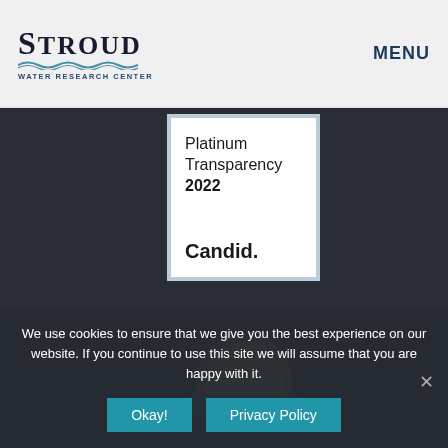STROUD WATER RESEARCH CENTER — MENU
[Figure (logo): Stroud Water Research Center logo with wave lines and subtitle]
[Figure (illustration): Candid Platinum Transparency 2022 badge — white box with blue border showing 'Platinum Transparency 2022' and 'Candid.']
[Figure (illustration): GreatNonprofits 2021 Top-Rated Nonprofit badge — gold circular seal with teal ribbon]
We use cookies to ensure that we give you the best experience on our website. If you continue to use this site we will assume that you are happy with it.
Okay! | Privacy Policy